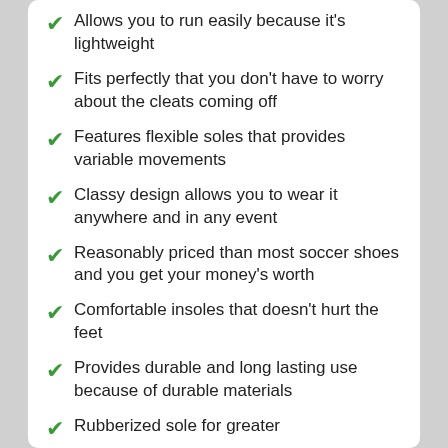Allows you to run easily because it's lightweight
Fits perfectly that you don't have to worry about the cleats coming off
Features flexible soles that provides variable movements
Classy design allows you to wear it anywhere and in any event
Reasonably priced than most soccer shoes and you get your money's worth
Comfortable insoles that doesn't hurt the feet
Provides durable and long lasting use because of durable materials
Rubberized sole for greater